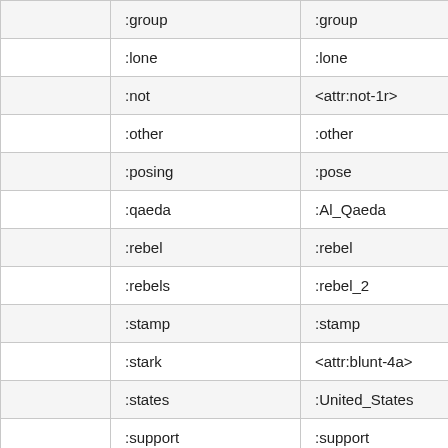|  |  |  |
| --- | --- | --- |
|  | :group | :group |
|  | :lone | :lone |
|  | :not | <attr:not-1r> |
|  | :other | :other |
|  | :posing | :pose |
|  | :qaeda | :Al_Qaeda |
|  | :rebel | :rebel |
|  | :rebels | :rebel_2 |
|  | :stamp | :stamp |
|  | :stark | <attr:blunt-4a> |
|  | :states | :United_States |
|  | :support | :support |
|  | :support_1 |  |
|  | :syrian | :Syrian |
|  | :uprising | :uprising |